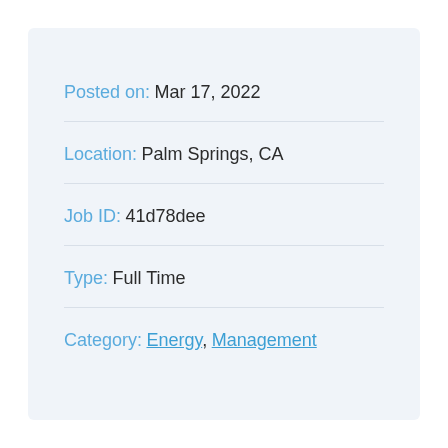Posted on: Mar 17, 2022
Location: Palm Springs, CA
Job ID: 41d78dee
Type: Full Time
Category: Energy, Management